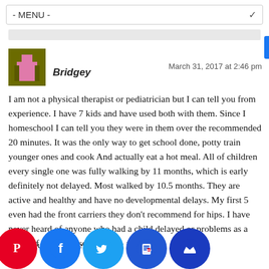- MENU -
Bridgey
March 31, 2017 at 2:46 pm
I am not a physical therapist or pediatrician but I can tell you from experience. I have 7 kids and have used both with them. Since I homeschool I can tell you they were in them over the recommended 20 minutes. It was the only way to get school done, potty train younger ones and cook And actually eat a hot meal. All of children every single one was fully walking by 11 months, which is early definitely not delayed. Most walked by 10.5 months. They are active and healthy and have no developmental delays. My first 5 even had the front carriers they don't recommend for hips. I have never heard of anyone who had a child delayed or problems as a result of one of these. t that's just experience for what it is wo
y ↓